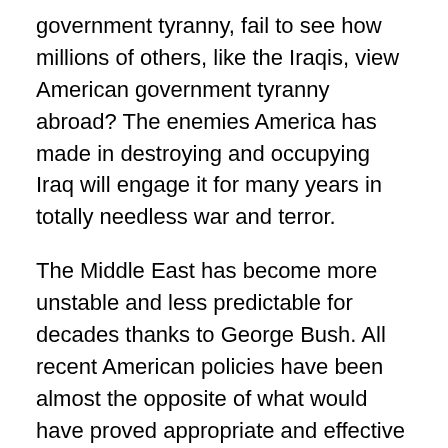government tyranny, fail to see how millions of others, like the Iraqis, view American government tyranny abroad? The enemies America has made in destroying and occupying Iraq will engage it for many years in totally needless war and terror.
The Middle East has become more unstable and less predictable for decades thanks to George Bush. All recent American policies have been almost the opposite of what would have proved appropriate and effective to a better future.
The glaring injustice of giving Israel its way in almost anything, including bombing women and children in Beirut, while the U.S. invades Muslim lands can only generate frustration and despair beyond measure. Israel has become a garrison state, a grossly inefficient economy,